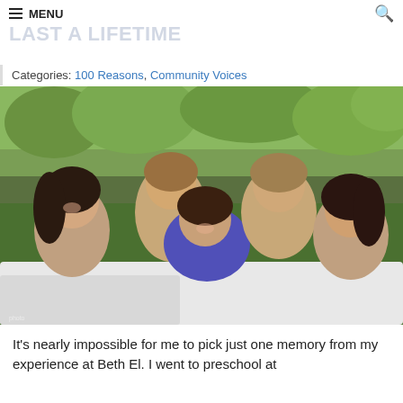MENU | [search icon]
BETH EL FRIENDSHIPS LAST A LIFETIME
Categories: 100 Reasons, Community Voices
[Figure (photo): Five young women smiling and lying on a white blanket outdoors on green grass with trees in the background.]
It's nearly impossible for me to pick just one memory from my experience at Beth El. I went to preschool at